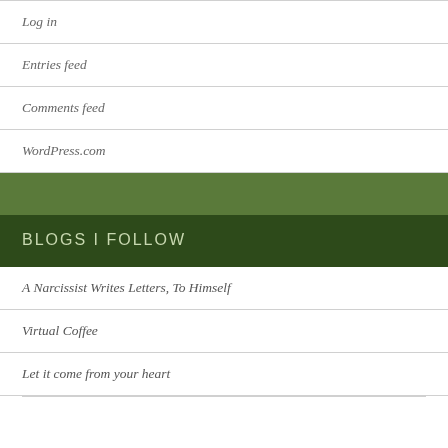Log in
Entries feed
Comments feed
WordPress.com
BLOGS I FOLLOW
A Narcissist Writes Letters, To Himself
Virtual Coffee
Let it come from your heart